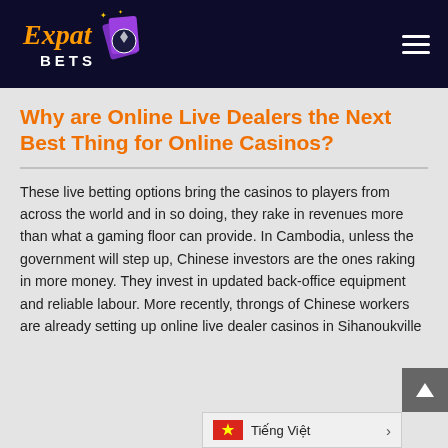Expat Bets
Why are Online Live Dealers the Next Best Thing for Online Casinos?
These live betting options bring the casinos to players from across the world and in so doing, they rake in revenues more than what a gaming floor can provide. In Cambodia, unless the government will step up, Chinese investors are the ones raking in more money. They invest in updated back-office equipment and reliable labour. More recently, throngs of Chinese workers are already setting up online live dealer casinos in Sihanoukville